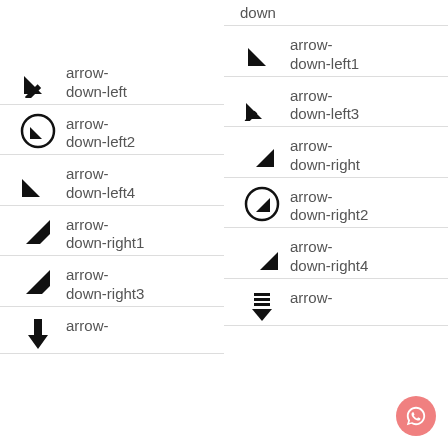down
arrow-down-left
arrow-down-left1
arrow-down-left2
arrow-down-left3
arrow-down-left4
arrow-down-right
arrow-down-right1
arrow-down-right2
arrow-down-right3
arrow-down-right4
arrow-
arrow-